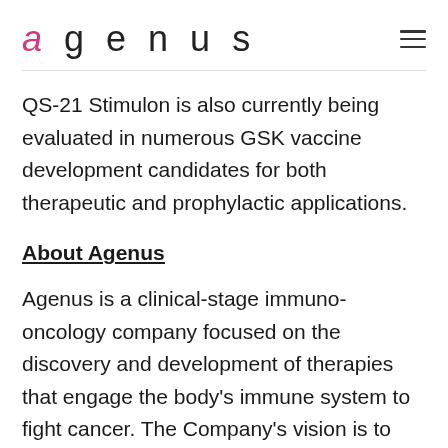agenus
QS-21 Stimulon is also currently being evaluated in numerous GSK vaccine development candidates for both therapeutic and prophylactic applications.
About Agenus
Agenus is a clinical-stage immuno-oncology company focused on the discovery and development of therapies that engage the body's immune system to fight cancer. The Company's vision is to expand the patient